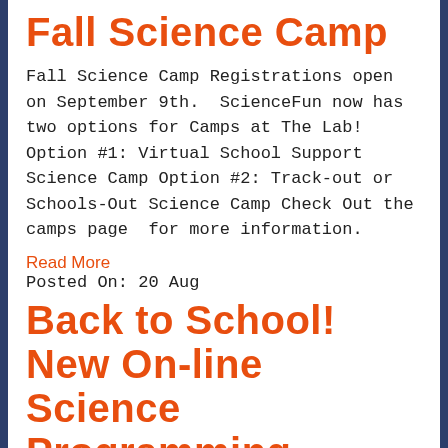Fall Science Camp
Fall Science Camp Registrations open on September 9th.  ScienceFun now has two options for Camps at The Lab! Option #1: Virtual School Support Science Camp Option #2: Track-out or Schools-Out Science Camp Check Out the camps page  for more information.
Read More
Posted On: 20 Aug
Back to School! New On-line Science Programming
Back to School! New On-line Science Programming